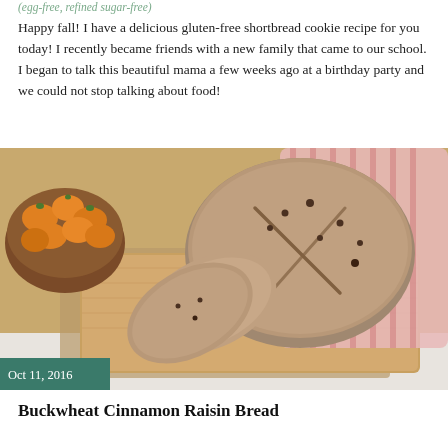(egg-free, refined sugar-free)
Happy fall! I have a delicious gluten-free shortbread cookie recipe for you today! I recently became friends with a new family that came to our school. I began to talk this beautiful mama a few weeks ago at a birthday party and we could not stop talking about food!
[Figure (photo): A round loaf of rustic seeded/raisin bread, partially sliced, resting on a pink striped cloth on a wooden cutting board. A bowl of small orange fruits (kumquats) is visible in the upper left corner. A date badge reading 'Oct 11, 2016' appears in the lower left of the image.]
Buckwheat Cinnamon Raisin Bread